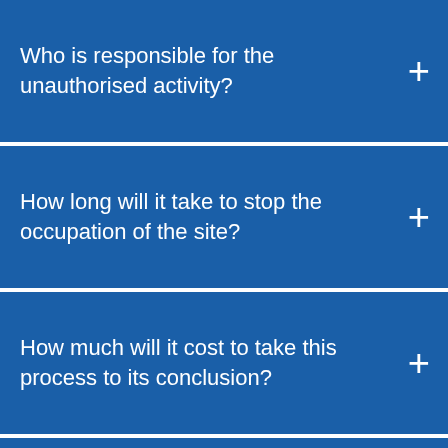Who is responsible for the unauthorised activity?
How long will it take to stop the occupation of the site?
How much will it cost to take this process to its conclusion?
How can you prevent re-occupation of this site or other